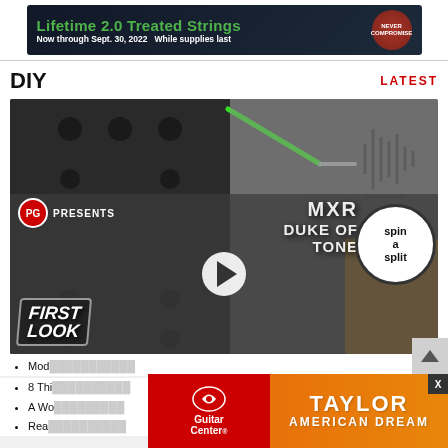[Figure (photo): Top banner advertisement: Lifetime 2.0 Treated Strings, Now through Sept. 30, 2022 While supplies last, with a red circular logo]
DIY
LATEST
[Figure (screenshot): Video thumbnail showing a guitarist with 'FIRST LOOK' badge, 'PG PRESENTS', 'MXR DUKE OF TONE' overlay text, a spin-a-split knob graphic, and a play button. Background shows guitar pedal imagery.]
Mod…
8 Thi…
A Wo…
Rea…
[Figure (photo): Guitar Center advertisement banner: Taylor American Dream, with Guitar Center logo on red background and Taylor American Dream text on orange background]